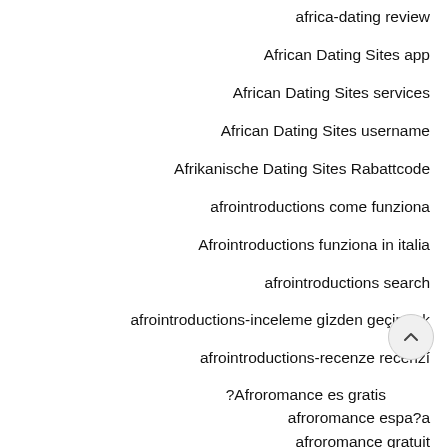africa-dating review
African Dating Sites app
African Dating Sites services
African Dating Sites username
Afrikanische Dating Sites Rabattcode
afrointroductions come funziona
Afrointroductions funziona in italia
afrointroductions search
afrointroductions-inceleme gözden geçirmek
afrointroductions-recenze recenzí
?Afroromance es gratis
afroromance espa?a
afroromance gratuit